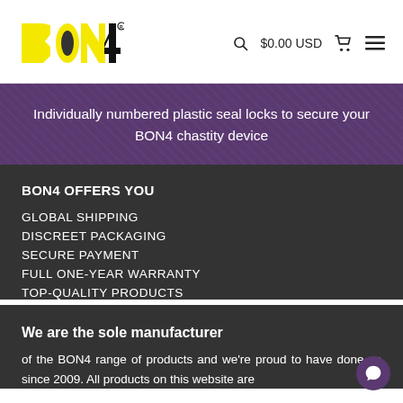[Figure (logo): BON4 logo in yellow with black number 4 and registered trademark symbol, followed by search icon, $0.00 USD cart icon, and hamburger menu]
Individually numbered plastic seal locks to secure your BON4 chastity device
BON4 OFFERS YOU
GLOBAL SHIPPING
DISCREET PACKAGING
SECURE PAYMENT
FULL ONE-YEAR WARRANTY
TOP-QUALITY PRODUCTS
We are the sole manufacturer
of the BON4 range of products and we're proud to have done so since 2009. All products on this website are